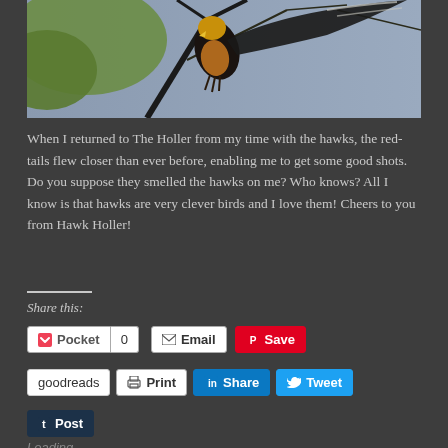[Figure (photo): Close-up photo of a hawk (red-tailed hawk) perched on a branch, wings partially spread, with orange/rust coloring visible on its chest and dark feathers, background shows blurred branches and sky]
When I returned to The Holler from my time with the hawks, the red-tails flew closer than ever before, enabling me to get some good shots. Do you suppose they smelled the hawks on me? Who knows? All I know is that hawks are very clever birds and I love them! Cheers to you from Hawk Holler!
Share this:
Pocket  0  Email  Save  goodreads  Print  Share  Tweet  Post
Loading...